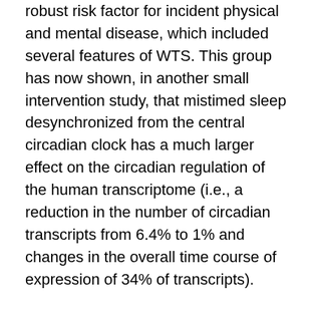robust risk factor for incident physical and mental disease, which included several features of WTS. This group has now shown, in another small intervention study, that mistimed sleep desynchronized from the central circadian clock has a much larger effect on the circadian regulation of the human transcriptome (i.e., a reduction in the number of circadian transcripts from 6.4% to 1% and changes in the overall time course of expression of 34% of transcripts).
This may elucidate the reasons for the large excess of cardiovascular events associated with shift work. The results demonstrate that any interference in normal sleeping patterns is inimical to cardiovascular health. The old admonition that “What you can’t hear won’t harm you” sadly isn’t true. It is now known that the organ of Corti in the cochlea (inner ear) contains two types of sensory cells: